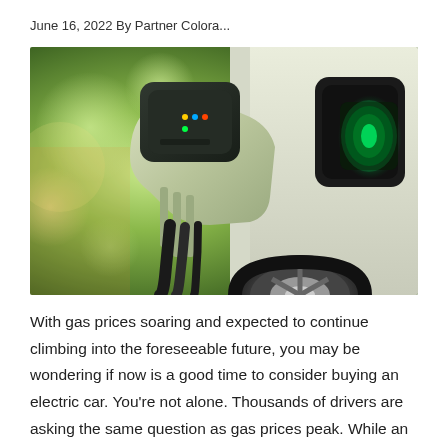June 16, 2022 By Partner Colora...
[Figure (photo): Close-up photo of an electric vehicle charging connector being plugged into a car's charging port, glowing green, with a blurred green background and car wheel visible.]
With gas prices soaring and expected to continue climbing into the foreseeable future, you may be wondering if now is a good time to consider buying an electric car. You're not alone. Thousands of drivers are asking the same question as gas prices peak. While an electric vehicle (EV) might be the right choice for many, there are a lot of variables to consider